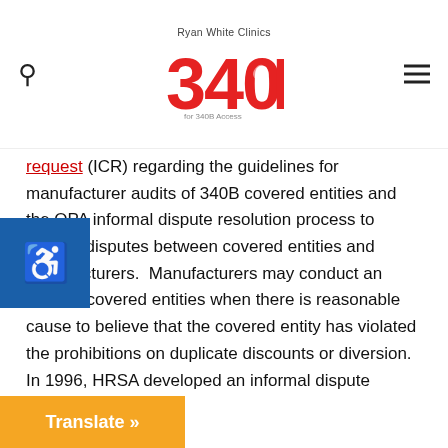Ryan White Clinics 340B for 340B Access
request (ICR) regarding the guidelines for manufacturer audits of 340B covered entities and the OPA informal dispute resolution process to resolve disputes between covered entities and manufacturers. Manufacturers may conduct an audit of covered entities when there is reasonable cause to believe that the covered entity has violated the prohibitions on duplicate discounts or diversion. In 1996, HRSA developed an informal dispute resolution process for manufacturers and covered entities to attempt in good faith to resolve disputes. In August, 2016, HRSA issued a proposed rule with requirements and procedures to implement a mandatory administrative dispute resolution (ADR) process. The proposed 2016 ADR requirements were [to replace the informal dispute resolution process;